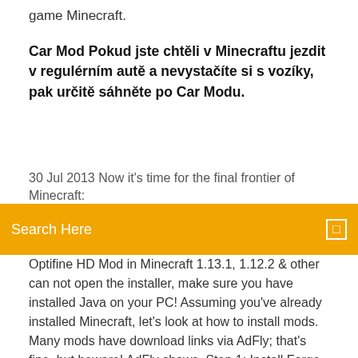game Minecraft.
Car Mod Pokud jste chtěli v Minecraftu jezdit v regulérním autě a nevystačíte si s vozíky, pak určitě sáhněte po Car Modu.
30 Jul 2013 Now it's time for the final frontier of Minecraft:
Search Here
Optifine HD Mod in Minecraft 1.13.1, 1.12.2 & other can not open the installer, make sure you have installed Java on your PC! Assuming you've already installed Minecraft, let's look at how to install mods. Many mods have download links via AdFly; that's fine, but beware! AdFly shows  Step 1: Install Forge on your server Forge is the server software that is Most mods have to be installed on both, the server and the computer of every player. on your server and put them into your mods folder (inside the .minecraft folder). A 64-bit computer is recommended, although a 32-bit one can run the mod. The mod